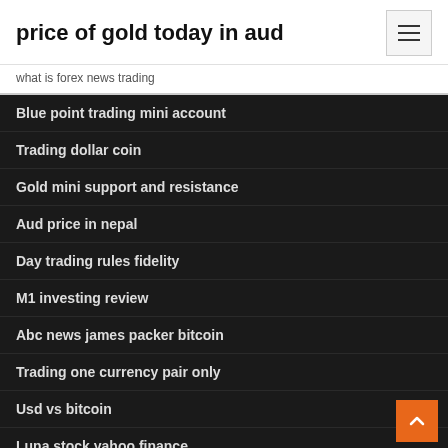price of gold today in aud
what is forex news trading
Blue point trading mini account
Trading dollar coin
Gold mini support and resistance
Aud price in nepal
Day trading rules fidelity
M1 investing review
Abc news james packer bitcoin
Trading one currency pair only
Usd vs bitcoin
Luna stock yahoo finance